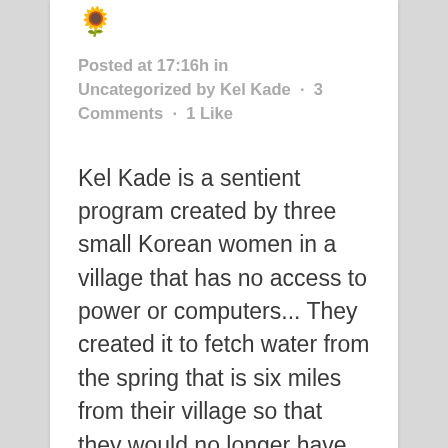[Figure (illustration): Emoji avatar icons (blue and yellow/sunflower)]
Posted at 17:16h in Uncategorized by Kel Kade · 3 Comments · 1 Like
Kel Kade is a sentient program created by three small Korean women in a village that has no access to power or computers... They created it to fetch water from the spring that is six miles from their village so that they would no longer have to. One day, it fell into the spring and was swept away, washing up on the riverbank after an arduous journey through countless underground tunnels and pathways. It was found by a